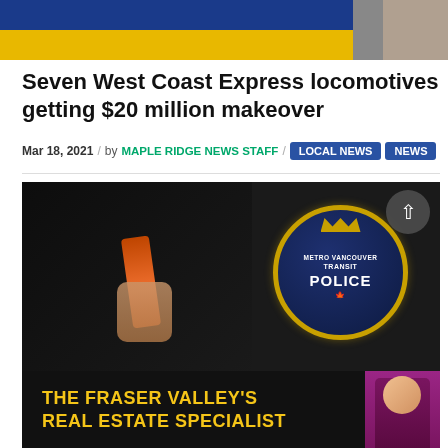[Figure (photo): Top portion of a West Coast Express train platform with blue and yellow colors, person's legs visible walking on platform tiles]
Seven West Coast Express locomotives getting $20 million makeover
Mar 18, 2021 / by MAPLE RIDGE NEWS STAFF / LOCAL NEWS NEWS
[Figure (photo): Close-up photo of a Metro Vancouver Transit Police officer showing their uniform badge/patch, with an orange item (possibly a phone or device) being held]
[Figure (photo): Advertisement banner: THE FRASER VALLEY'S REAL ESTATE SPECIALIST with dark background and yellow text, woman in purple outfit on right side]